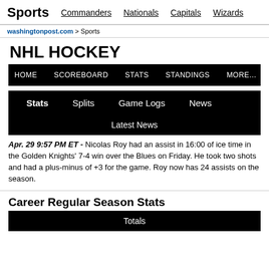Sports   Commanders   Nationals   Capitals   Wizards
washingtonpost.com > Sports
NHL HOCKEY
HOME   SCOREBOARD   STATS   STANDINGS   MORE...
Stats   Splits   Game Logs   News
Latest News
Apr. 29 9:57 PM ET - Nicolas Roy had an assist in 16:00 of ice time in the Golden Knights' 7-4 win over the Blues on Friday. He took two shots and had a plus-minus of +3 for the game. Roy now has 24 assists on the season.
Career Regular Season Stats
Totals